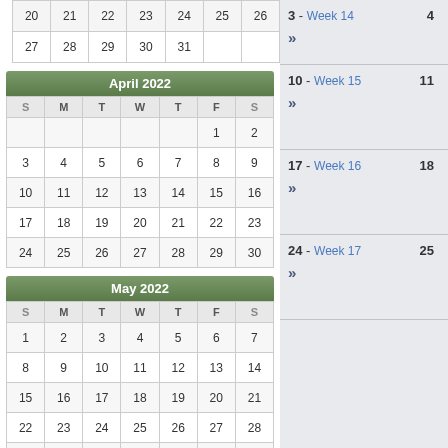| S | M | T | W | T | F | S |
| --- | --- | --- | --- | --- | --- | --- |
| 20 | 21 | 22 | 23 | 24 | 25 | 26 |
| 27 | 28 | 29 | 30 | 31 |  |  |
| S | M | T | W | T | F | S |
| --- | --- | --- | --- | --- | --- | --- |
|  |  |  |  |  | 1 | 2 |
| 3 | 4 | 5 | 6 | 7 | 8 | 9 |
| 10 | 11 | 12 | 13 | 14 | 15 | 16 |
| 17 | 18 | 19 | 20 | 21 | 22 | 23 |
| 24 | 25 | 26 | 27 | 28 | 29 | 30 |
| S | M | T | W | T | F | S |
| --- | --- | --- | --- | --- | --- | --- |
| 1 | 2 | 3 | 4 | 5 | 6 | 7 |
| 8 | 9 | 10 | 11 | 12 | 13 | 14 |
| 15 | 16 | 17 | 18 | 19 | 20 | 21 |
| 22 | 23 | 24 | 25 | 26 | 27 | 28 |
| 29 | 30 | 31 |  |  |  |  |
3 - Week 14   4
10 - Week 15   11
17 - Week 16   18
24 - Week 17   25